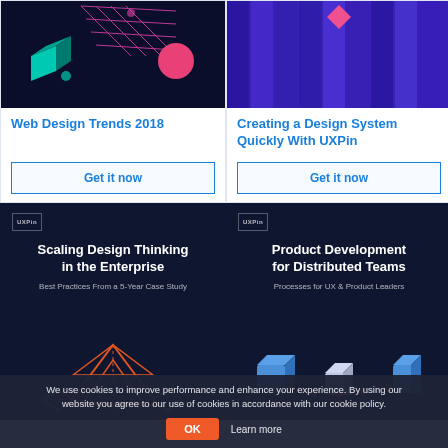[Figure (illustration): Dark navy background with colorful 3D geometric shapes including a teal cube, pink grid, pink sphere, and floating dots]
[Figure (illustration): Purple background with tall vertical stripe columns in various shades of purple and a small pink diamond shape at top]
Web Design Trends 2018
Creating a Design System Quickly With UXPin
Get it now
Get it now
[Figure (illustration): Dark navy book cover with UXPin logo, title 'Scaling Design Thinking in the Enterprise', subtitle 'Best Practices From a 5-Year Case Study', and orange geometric pyramid shapes at bottom]
[Figure (illustration): Dark navy book cover with UXPin logo, title 'Product Development for Distributed Teams', subtitle 'Processes for UX & Product Leaders', and illustrated 3D characters/shapes at bottom]
We use cookies to improve performance and enhance your experience. By using our website you agree to our use of cookies in accordance with our cookie policy.
OK
Learn more